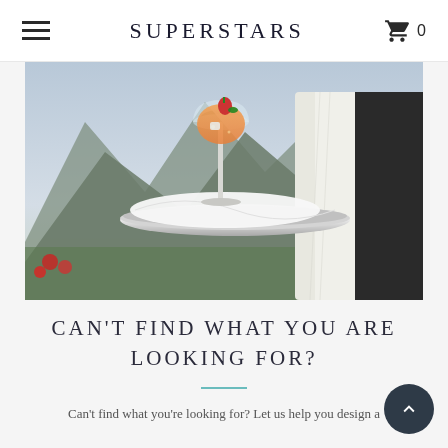SUPERSTARS
[Figure (photo): A waiter in a white shirt holding a silver tray with a cocktail glass containing an orange drink garnished with strawberries, with a scenic mountain and village background.]
CAN'T FIND WHAT YOU ARE LOOKING FOR?
Can't find what you're looking for? Let us help you design a